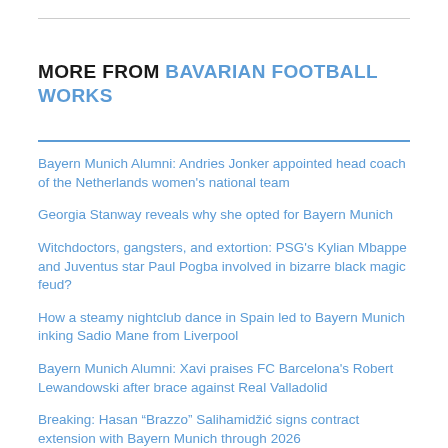MORE FROM BAVARIAN FOOTBALL WORKS
Bayern Munich Alumni: Andries Jonker appointed head coach of the Netherlands women's national team
Georgia Stanway reveals why she opted for Bayern Munich
Witchdoctors, gangsters, and extortion: PSG's Kylian Mbappe and Juventus star Paul Pogba involved in bizarre black magic feud?
How a steamy nightclub dance in Spain led to Bayern Munich inking Sadio Mane from Liverpool
Bayern Munich Alumni: Xavi praises FC Barcelona's Robert Lewandowski after brace against Real Valladolid
Breaking: Hasan “Brazzo” Salihamidžić signs contract extension with Bayern Munich through 2026